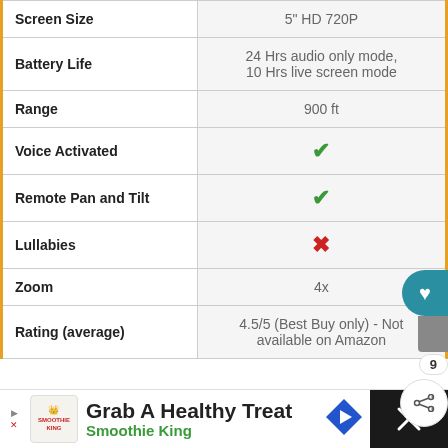| Feature | Value |
| --- | --- |
| Screen Size | 5" HD 720P |
| Battery Life | 24 Hrs audio only mode, 10 Hrs live screen mode |
| Range | 900 ft |
| Voice Activated | ✓ |
| Remote Pan and Tilt | ✓ |
| Lullabies | ✗ |
| Zoom | 4x |
| Rating (average) | 4.5/5 (Best Buy only) - Not available on Amazon |
[Figure (screenshot): Advertisement bar for Smoothie King at the bottom of the page]